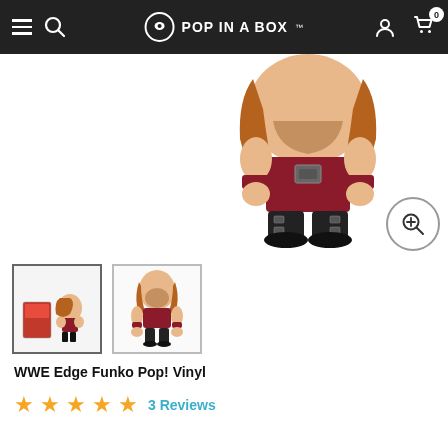Pop In A Box
[Figure (photo): WWE Edge Funko Pop! Vinyl figure shown from torso down — character with brown hair, bare chest, dark red/maroon shorts, black boots with silver buckles, raised fists with brown wristbands]
[Figure (photo): Thumbnail 1: Small WWE Edge Funko Pop! Vinyl figure full body with box packaging visible]
[Figure (photo): Thumbnail 2: WWE Edge Funko Pop! Vinyl figure full body close-up]
WWE Edge Funko Pop! Vinyl
3 Reviews